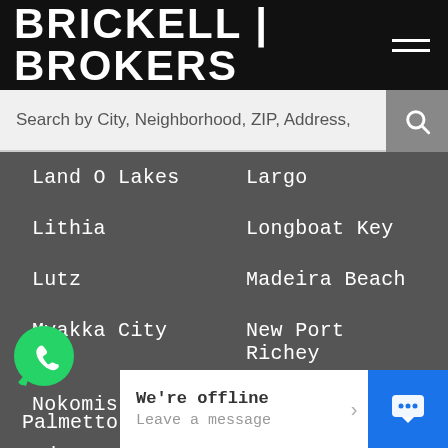BRICKELL | BROKERS
Search by City, Neighborhood, ZIP, Address,
Land O Lakes
Largo
Lithia
Longboat Key
Lutz
Madeira Beach
Myakka City
New Port Richey
Nokomis
North Port
Odessa
Oldsmar
Palmetto
Palm Harbor
[Figure (logo): WhatsApp green phone icon button]
We're offline
Leave a message